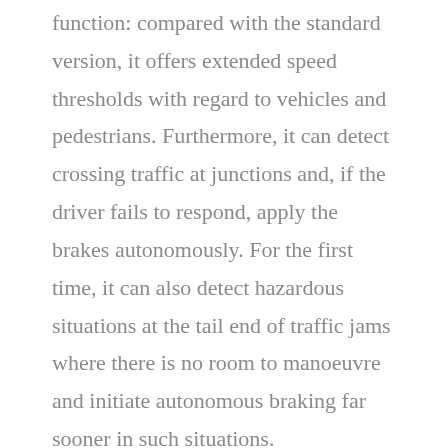function: compared with the standard version, it offers extended speed thresholds with regard to vehicles and pedestrians. Furthermore, it can detect crossing traffic at junctions and, if the driver fails to respond, apply the brakes autonomously. For the first time, it can also detect hazardous situations at the tail end of traffic jams where there is no room to manoeuvre and initiate autonomous braking far sooner in such situations.
The new E-Class can also assist you further with parking, with the Remote Parking Pilot: for this first time, this system allows the vehicle to be moved into and out of garages and parking spaces